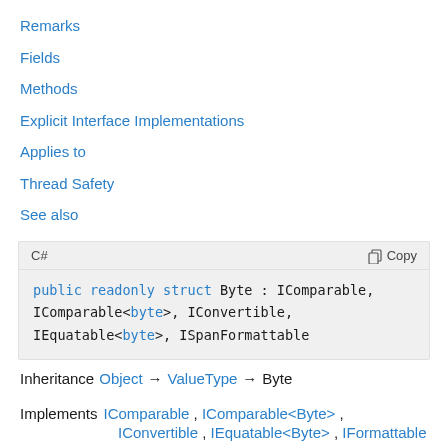Remarks
Fields
Methods
Explicit Interface Implementations
Applies to
Thread Safety
See also
C#  Copy
public readonly struct Byte : IComparable,
IComparable<byte>, IConvertible,
IEquatable<byte>, ISpanFormattable
Inheritance  Object → ValueType → Byte
Implements  IComparable , IComparable<Byte> ,
             IConvertible , IEquatable<Byte> , IFormattable ,